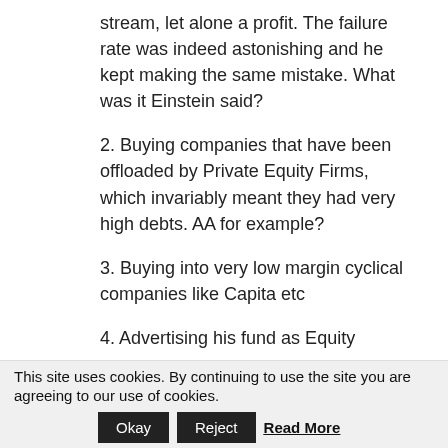stream, let alone a profit. The failure rate was indeed astonishing and he kept making the same mistake. What was it Einstein said?
2. Buying companies that have been offloaded by Private Equity Firms, which invariably meant they had very high debts. AA for example?
3. Buying into very low margin cyclical companies like Capita etc
4. Advertising his fund as Equity
This site uses cookies. By continuing to use the site you are agreeing to our use of cookies.